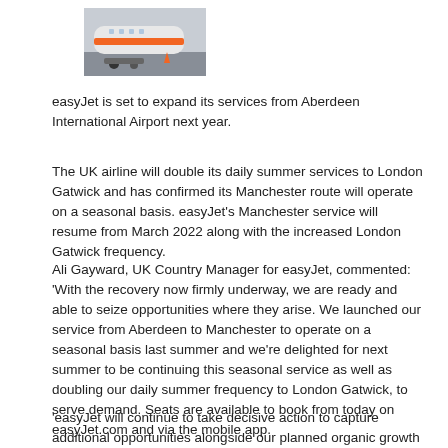[Figure (photo): A partial view of an easyJet aircraft on the tarmac, showing orange branding elements and ground equipment.]
easyJet is set to expand its services from Aberdeen International Airport next year.
The UK airline will double its daily summer services to London Gatwick and has confirmed its Manchester route will operate on a seasonal basis. easyJet's Manchester service will resume from March 2022 along with the increased London Gatwick frequency.
Ali Gayward, UK Country Manager for easyJet, commented: 'With the recovery now firmly underway, we are ready and able to seize opportunities where they arise. We launched our service from Aberdeen to Manchester to operate on a seasonal basis last summer and we're delighted for next summer to be continuing this seasonal service as well as doubling our daily summer frequency to London Gatwick, to serve demand. Seats are available to book from today on easyJet.com and via the mobile app.
'easyJet will continue to take decisive action to capture additional opportunities alongside our planned organic growth to ensure we continue to offer the greatest choice and best value for leisure and